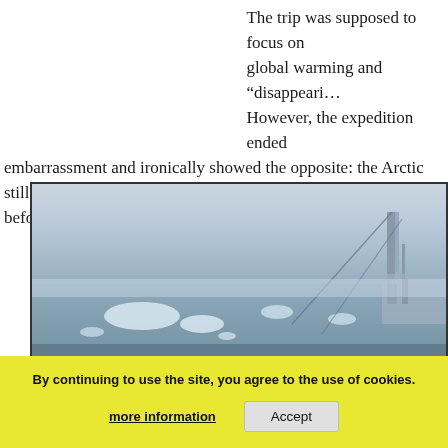The trip was supposed to focus on global warming and "disappearing" ice. However, the expedition ended embarrassment and ironically showed the opposite: the Arctic still had ice before becoming ice-free.
[Figure (photo): Aerial or elevated view from a ship's deck showing a vast expanse of Arctic sea ice and icy water, with the ship's structure visible on the right side. The scene is misty and grey-blue in tone.]
By continuing to use the site, you agree to the use of cookies.
more information     Accept